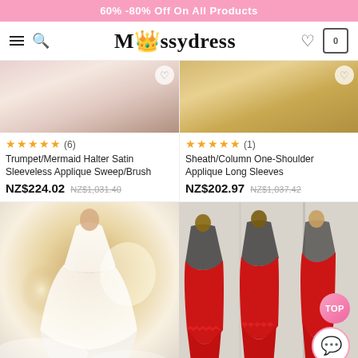60% -80% Off On All Products
[Figure (screenshot): Missydress app navigation bar with hamburger menu, search icon, Missydress logo, heart icon, and shopping cart icon]
[Figure (photo): Top portion of a white/pink ruffled dress product]
[Figure (photo): Top portion of a gold/cream dress product]
★★★★★ (6)
Trumpet/Mermaid Halter Satin Sleeveless Applique Sweep/Brush
NZ$224.02  NZ$1,031.40
★★★★★ (1)
Sheath/Column One-Shoulder Applique Long Sleeves
NZ$202.97  NZ$1,037.42
[Figure (photo): Model wearing a white halter-neck gown with intricate lace bodice in a smoky, dramatic setting]
[Figure (photo): Three views of models wearing red backless gowns with scalloped lace trim]